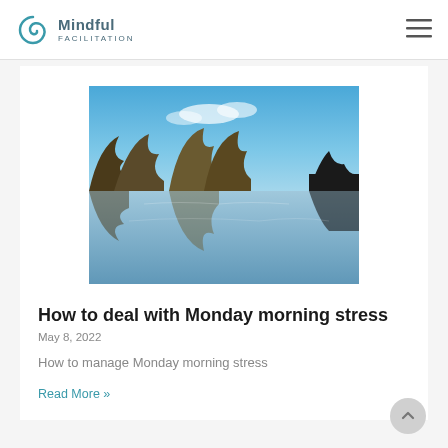Mindful FACILITATION
[Figure (photo): Outdoor landscape photograph showing a calm river or lake with bare winter trees reflected in the still water, blue sky with scattered clouds above.]
How to deal with Monday morning stress
May 8, 2022
How to manage Monday morning stress
Read More »